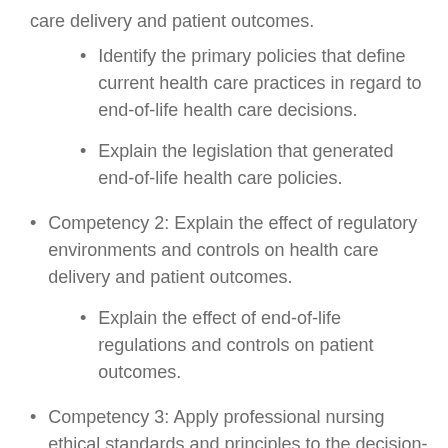care delivery and patient outcomes.
Identify the primary policies that define current health care practices in regard to end-of-life health care decisions.
Explain the legislation that generated end-of-life health care policies.
Competency 2: Explain the effect of regulatory environments and controls on health care delivery and patient outcomes.
Explain the effect of end-of-life regulations and controls on patient outcomes.
Competency 3: Apply professional nursing ethical standards and principles to the decision-making process.
Describe the role of the nurse in end-of-life…